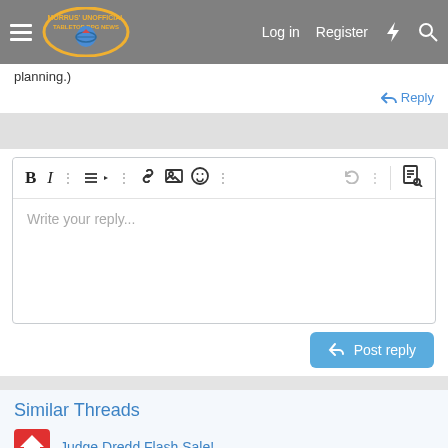Morrus' Unofficial Tabletop RPG News — Log in  Register
planning.)
↩ Reply
[Figure (screenshot): Rich text editor toolbar with Bold (B), Italic (I), dots menu, list, dots, link, image, emoji, dots, undo, dots buttons, and a document-search icon on the right]
Write your reply...
↩ Post reply
Similar Threads
Judge Dredd Flash Sale!